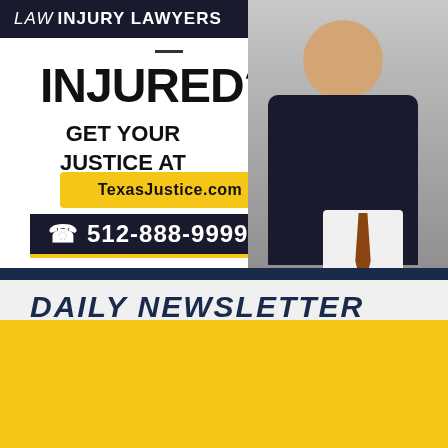[Figure (infographic): Law injury lawyers advertisement with photo of attorney, text INJURED? GET YOUR JUSTICE AT TexasJustice.com, phone 512-888-9999]
DAILY NEWSLETTER
"IT HAD TO BE GOD"
Dallas school bus driver, bus monitor help save kids from floodwater
A Dallas ISD bus driver and bus monitor helped save two children who were caught up and nearly swept away by flooding.